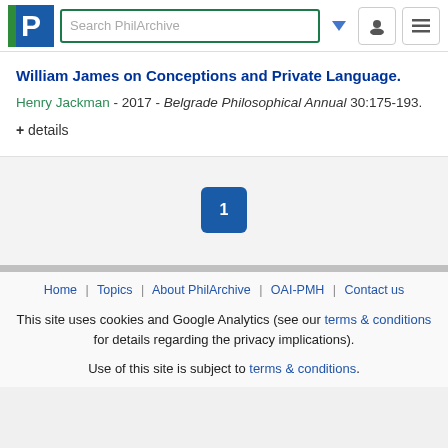[Figure (logo): PhilArchive logo with green bar and blue P]
Search PhilArchive
William James on Conceptions and Private Language.
Henry Jackman - 2017 - Belgrade Philosophical Annual 30:175-193.
+ details
1
Home | Topics | About PhilArchive | OAI-PMH | Contact us
This site uses cookies and Google Analytics (see our terms & conditions for details regarding the privacy implications).
Use of this site is subject to terms & conditions.